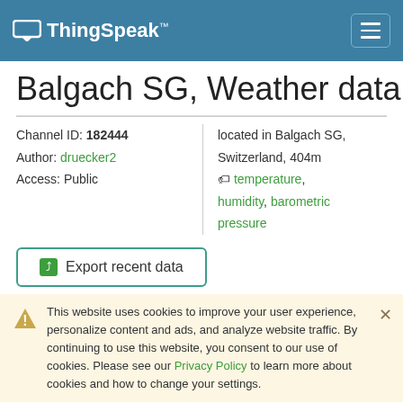ThingSpeak™
Balgach SG, Weather data
Channel ID: 182444
Author: druecker2
Access: Public
located in Balgach SG, Switzerland, 404m
🏷 temperature, humidity, barometric pressure
Export recent data
This website uses cookies to improve your user experience, personalize content and ads, and analyze website traffic. By continuing to use this website, you consent to our use of cookies. Please see our Privacy Policy to learn more about cookies and how to change your settings.